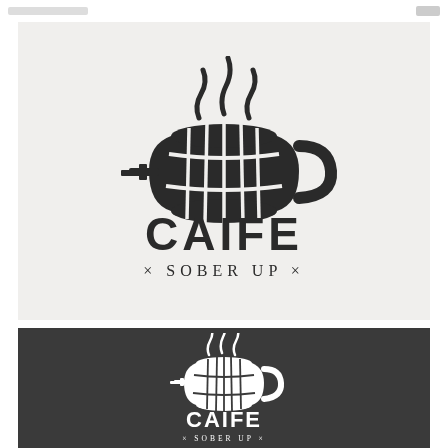[Figure (logo): CAIFE SOBER UP logo on light gray background: a barrel shaped coffee mug with steam rising above, a tap/spigot on the left side, a handle on the right, bold text CAIFE below, and × SOBER UP × in smaller serif text beneath]
[Figure (logo): CAIFE SOBER UP logo on dark charcoal background: smaller version of the barrel-mug icon with steam, CAIFE in white bold text, × SOBER UP × in small white serif text]